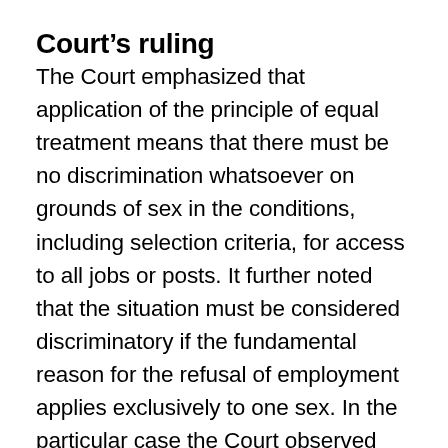Court's ruling
The Court emphasized that application of the principle of equal treatment means that there must be no discrimination whatsoever on grounds of sex in the conditions, including selection criteria, for access to all jobs or posts. It further noted that the situation must be considered discriminatory if the fundamental reason for the refusal of employment applies exclusively to one sex. In the particular case the Court observed that only women can be refused employment on grounds of